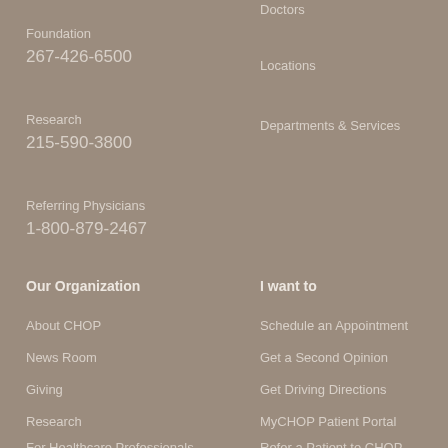Doctors
Foundation
267-426-6500
Locations
Research
215-590-3800
Departments & Services
Referring Physicians
1-800-879-2467
Our Organization
I want to
About CHOP
Schedule an Appointment
News Room
Get a Second Opinion
Giving
Get Driving Directions
Research
MyCHOP Patient Portal
For Healthcare Professionals
Refer a Patient to CHOP